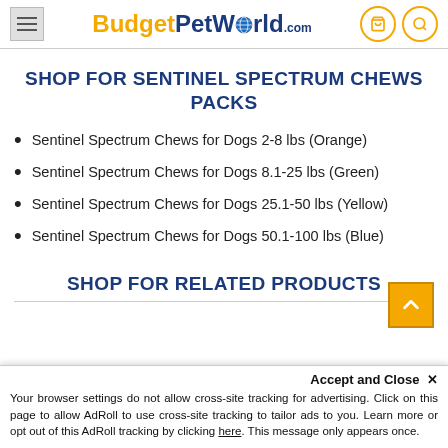BudgetPetWorld.com
SHOP FOR SENTINEL SPECTRUM CHEWS PACKS
Sentinel Spectrum Chews for Dogs 2-8 lbs (Orange)
Sentinel Spectrum Chews for Dogs 8.1-25 lbs (Green)
Sentinel Spectrum Chews for Dogs 25.1-50 lbs (Yellow)
Sentinel Spectrum Chews for Dogs 50.1-100 lbs (Blue)
SHOP FOR RELATED PRODUCTS
Accept and Close ✕
Your browser settings do not allow cross-site tracking for advertising. Click on this page to allow AdRoll to use cross-site tracking to tailor ads to you. Learn more or opt out of this AdRoll tracking by clicking here. This message only appears once.